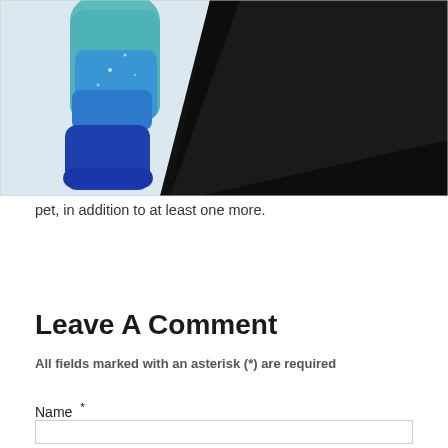[Figure (photo): Partial view of two figure skaters on ice. On the left, a skater wearing a teal/blue costume with a deep blue glove is visible. On the right, a skater in a dark/black outfit is partially visible in silhouette.]
pet, in addition to at least one more.
Leave A Comment
All fields marked with an asterisk (*) are required
Name  *
Email *